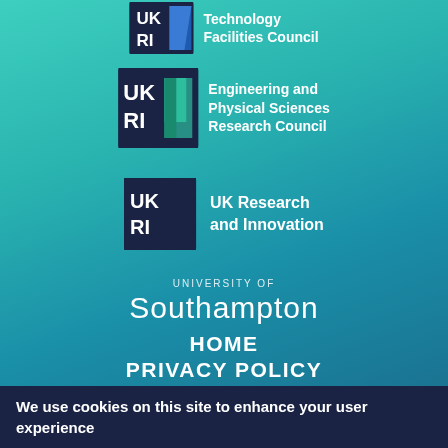[Figure (logo): UKRI Science and Technology Facilities Council logo with dark navy badge and blue shape, text: Technology Facilities Council]
[Figure (logo): UKRI Engineering and Physical Sciences Research Council logo with dark navy badge and teal/green L shape, text: Engineering and Physical Sciences Research Council]
[Figure (logo): UKRI UK Research and Innovation logo with dark navy badge only, text: UK Research and Innovation]
[Figure (logo): University of Southampton logo in white text on teal background]
HOME
PRIVACY POLICY
CONTACT US
SITEMAP
We use cookies on this site to enhance your user experience